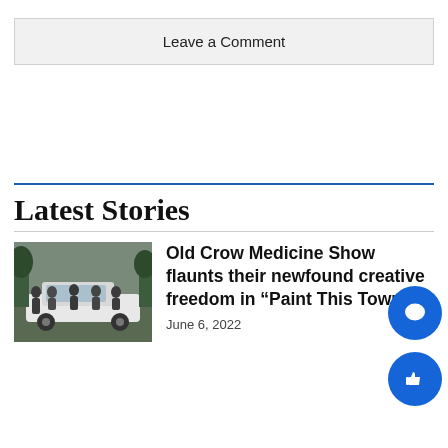Leave a Comment
Latest Stories
[Figure (photo): Group photo of several men sitting and standing around a white car outdoors]
Old Crow Medicine Show flaunts their newfound creative freedom in “Paint This Town”
June 6, 2022